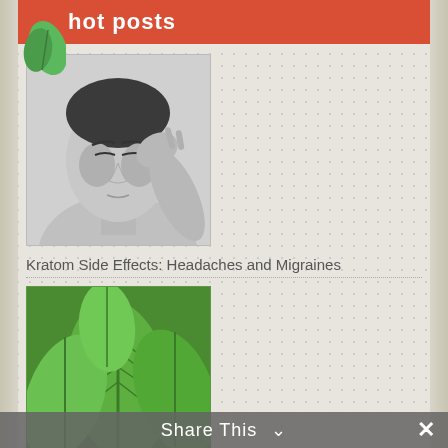hot posts
[Figure (photo): Black and white photo of a woman pressing fingers to her temple, appearing to have a headache or migraine]
Kratom Side Effects: Headaches and Migraines
[Figure (photo): Close-up photo of bright green Kratom plant leaves]
The Rare Gold Bali Strain
Share This ˅  ✕